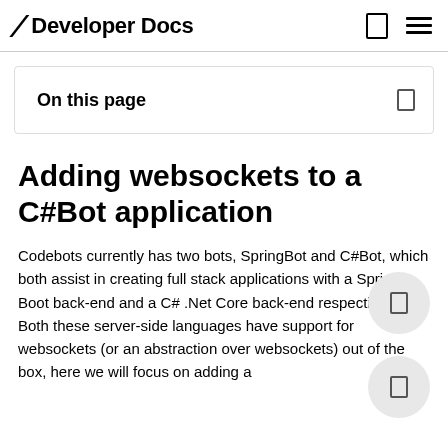Developer Docs
On this page
Adding websockets to a C#Bot application
Codebots currently has two bots, SpringBot and C#Bot, which both assist in creating full stack applications with a Spring Boot back-end and a C# .Net Core back-end respectively. Both these server-side languages have support for websockets (or an abstraction over websockets) out of the box, here we will focus on adding a